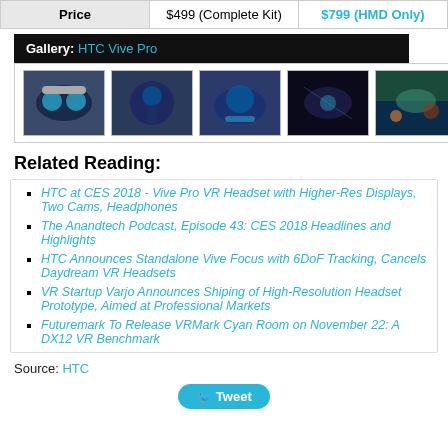| Price | $499 (Complete Kit) | $799 (HMD Only) |
| --- | --- | --- |
[Figure (photo): Gallery of HTC Vive Pro product images showing 6 thumbnail photos of the headset from various angles]
Related Reading:
HTC at CES 2018 - Vive Pro VR Headset with Higher-Res Displays, Two Cams, Headphones
The Anandtech Podcast, Episode 43: CES 2018 Headlines and Highlights
HTC Announces Standalone Vive Focus with 6DoF Tracking, Cancels Daydream VR Headsets
VR Startup Varjo Announces Shiping of High-Resolution Headset Prototype, Aimed at Professional Markets
Futuremark To Release VRMark Cyan Room on November 22: A DX12 VR Benchmark
Source: HTC